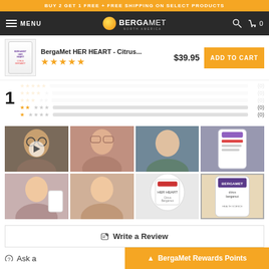BUY 2 GET 1 FREE + FREE SHIPPING ON SELECT PRODUCTS
[Figure (screenshot): BergaMet navigation bar with hamburger menu, MENU text, BergaMet logo with orange circle, search icon and cart with 0 items]
[Figure (screenshot): Product listing: BergaMet HER HEART - Citrus... with 5 star rating, price $39.95 and ADD TO CART button in orange]
1
(0) 2 star rating bar
(0) 1 star rating bar
[Figure (photo): 8-photo grid of customer review photos showing people holding BergaMet HER HEART product bottles, first photo has video play button overlay]
✏ Write a Review
▲ BergaMet Rewards Points